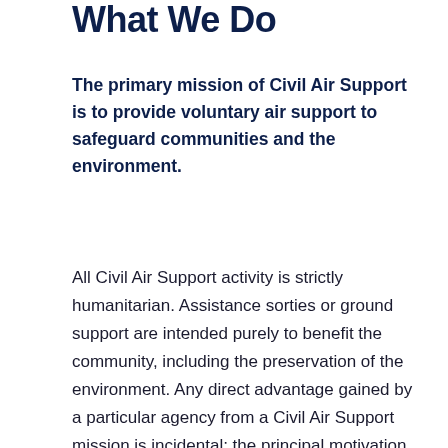What We Do
The primary mission of Civil Air Support is to provide voluntary air support to safeguard communities and the environment.
All Civil Air Support activity is strictly humanitarian. Assistance sorties or ground support are intended purely to benefit the community, including the preservation of the environment. Any direct advantage gained by a particular agency from a Civil Air Support mission is incidental; the principal motivation of Civil Air Support is to provide community relief through occasional complementary air support for those who would otherwise have no access to it. Civil Air Support will not compete with established air resources and will only operate when the alternative to Civil Air